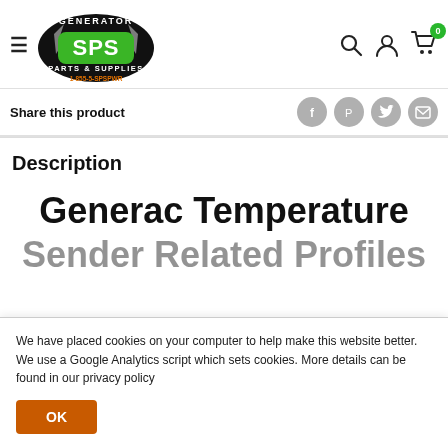Generator SPS Parts & Supplies 1-855-5-SPSPWR — navigation header with logo, hamburger menu, search, account, and cart icons
Share this product
Description
Generac Temperature
We have placed cookies on your computer to help make this website better. We use a Google Analytics script which sets cookies. More details can be found in our privacy policy
OK